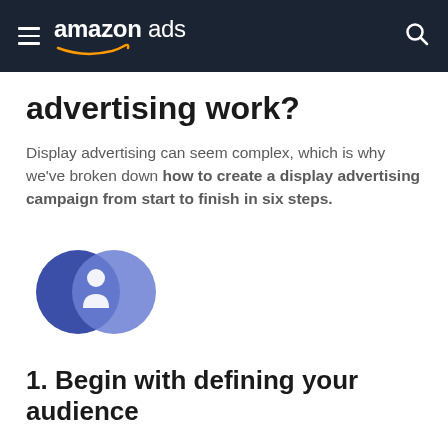amazon ads
advertising work?
Display advertising can seem complex, which is why we've broken down how to create a display advertising campaign from start to finish in six steps.
[Figure (illustration): Two overlapping circles icon in dark blue and medium blue with a person/user silhouette in the center, representing audience targeting or segmentation.]
1. Begin with defining your audience